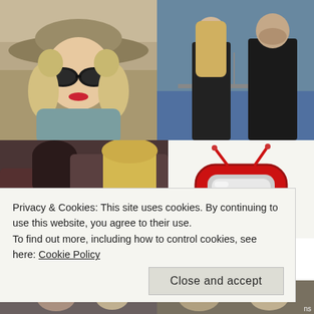[Figure (photo): Woman wearing a wide-brimmed hat and sunglasses, outdoors with rocky background, curly blonde hair, red lips, grey tank top]
[Figure (photo): Two people standing near a bridge over water — a blonde woman and a man in dark coats, moody dramatic lighting]
[Figure (photo): Two women in a car or indoor setting, one brunette and one blonde, looking serious]
[Figure (illustration): Red retro cartoon television set icon with antenna]
Privacy & Cookies: This site uses cookies. By continuing to use this website, you agree to their use.
To find out more, including how to control cookies, see here: Cookie Policy
[Figure (photo): Partial bottom strip showing two more photo thumbnails, mostly obscured]
Close and accept